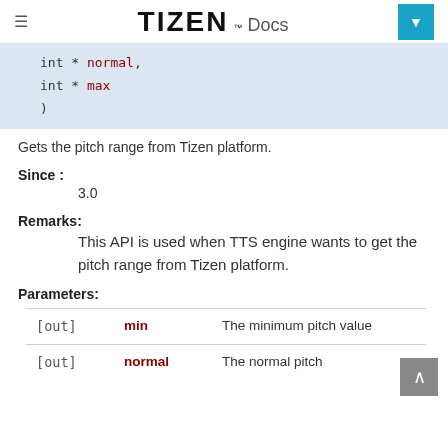TIZEN™ Docs
int * normal,
int * max
)
Gets the pitch range from Tizen platform.
Since :
3.0
Remarks:
This API is used when TTS engine wants to get the pitch range from Tizen platform.
Parameters:
|  | name | description |
| --- | --- | --- |
| [out] | min | The minimum pitch value |
| [out] | normal | The normal pitch |